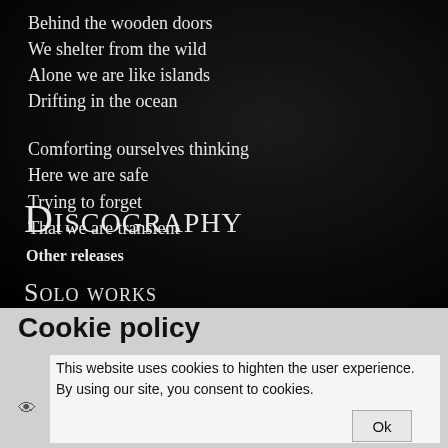Behind the wooden doors
We shelter from the wild
Alone we are like islands
Drifting in the ocean
Comforting ourselves thinking
Here we are safe
Trying to forget
That we are transient
Discography
Other releases
Solo works
Cookie policy
This website uses cookies to highten the user experience. By using our site, you consent to cookies.